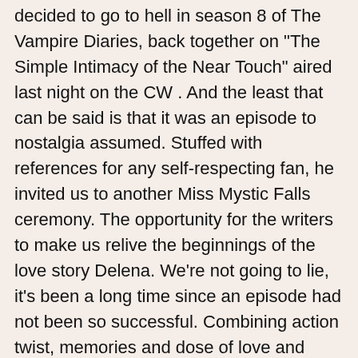decided to go to hell in season 8 of The Vampire Diaries, back together on "The Simple Intimacy of the Near Touch" aired last night on the CW . And the least that can be said is that it was an episode to nostalgia assumed. Stuffed with references for any self-respecting fan, he invited us to another Miss Mystic Falls ceremony. The opportunity for the writers to make us relive the beginnings of the love story Delena. We're not going to lie, it's been a long time since an episode had not been so successful. Combining action twist, memories and dose of love and romance brilliantly, "The Simple Intimacy of the Near Touch" offered us a real dive in the best moments of the series . A few weeks before the final end of The Vampire Diaries, we could not have dreamed better. It must be said that Paul Wesley is absolutely scary when he embodies the ripper. Never as determined to follow the path indicated by Cade as now, Stefan does not intend to let his brother, growing melancholy, prevent him from doing what he makes euphoric: kill without any scruple. He and his deputy go to Mystic Falls in order to...